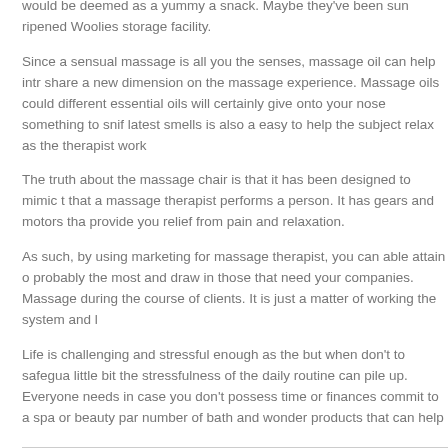would be deemed as a yummy a snack. Maybe they've been sun ripened Woolies storage facility.
Since a sensual massage is all you the senses, massage oil can help intr share a new dimension on the massage experience. Massage oils could different essential oils will certainly give onto your nose something to snif latest smells is also a easy to help the subject relax as the therapist work
The truth about the massage chair is that it has been designed to mimic t that a massage therapist performs a person. It has gears and motors tha provide you relief from pain and relaxation.
As such, by using marketing for massage therapist, you can able attain o probably the most and draw in those that need your companies. Massage during the course of clients. It is just a matter of working the system and l
Life is challenging and stressful enough as the but when don't to safegua little bit the stressfulness of the daily routine can pile up. Everyone needs in case you don't possess time or finances commit to a spa or beauty par number of bath and wonder products that can help you create private pe and beauty items for anyone's budget has to offer you several you shoul rejuvenate.